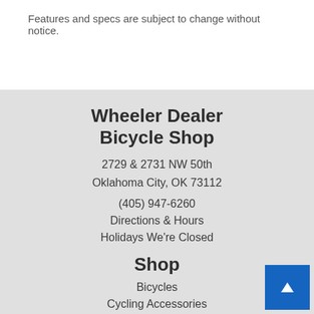Features and specs are subject to change without notice.
Wheeler Dealer Bicycle Shop
2729 & 2731 NW 50th
Oklahoma City, OK 73112
(405) 947-6260
Directions & Hours
Holidays We're Closed
Shop
Bicycles
Cycling Accessories